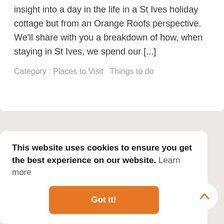insight into a day in the life in a St Ives holiday cottage but from an Orange Roofs perspective. We'll share with you a breakdown of how, when staying in St Ives, we spend our [...]
Category : Places to Visit   Things to do
This website uses cookies to ensure you get the best experience on our website. Learn more
Got it!